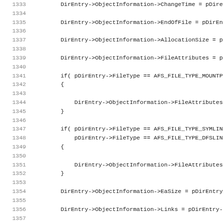Source code listing, lines 1333–1365, showing C code with DirEntry->ObjectInformation assignments and conditional blocks for file type checks.